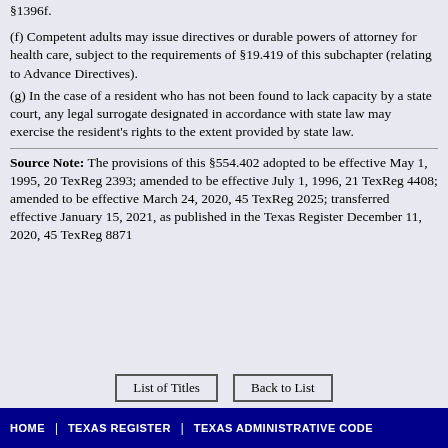§1396f.
(f) Competent adults may issue directives or durable powers of attorney for health care, subject to the requirements of §19.419 of this subchapter (relating to Advance Directives).
(g) In the case of a resident who has not been found to lack capacity by a state court, any legal surrogate designated in accordance with state law may exercise the resident's rights to the extent provided by state law.
Source Note: The provisions of this §554.402 adopted to be effective May 1, 1995, 20 TexReg 2393; amended to be effective July 1, 1996, 21 TexReg 4408; amended to be effective March 24, 2020, 45 TexReg 2025; transferred effective January 15, 2021, as published in the Texas Register December 11, 2020, 45 TexReg 8871
HOME | TEXAS REGISTER | TEXAS ADMINISTRATIVE CODE